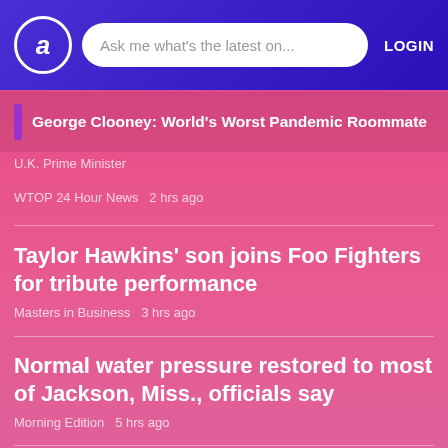a  Ask me what's the latest on...  LOGIN
George Clooney: World's Worst Pandemic Roommate
U.K. Prime Minister
WTOP 24 Hour News   2 hrs ago
Taylor Hawkins' son joins Foo Fighters for tribute performance
Masters in Business   3 hrs ago
Normal water pressure restored to most of Jackson, Miss., officials say
Morning Edition   5 hrs ago
U.S. kids grappling with mental health crisis made worse by the pandemic